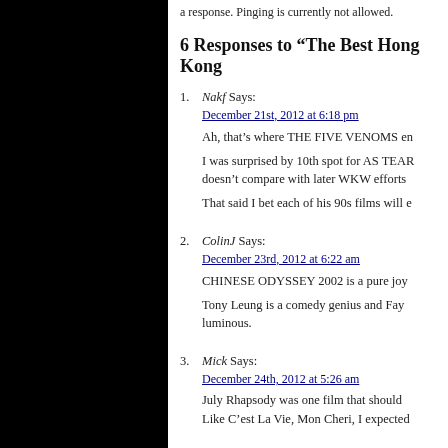a response. Pinging is currently not allowed.
6 Responses to “The Best Hong Kong
1. Nakf Says:
December 21st, 2012 at 6:18 pm
Ah, that’s where THE FIVE VENOMS en

I was surprised by 10th spot for AS TEAR doesn’t compare with later WKW efforts

That said I bet each of his 90s films will e
2. ColinJ Says:
December 23rd, 2012 at 6:22 am
CHINESE ODYSSEY 2002 is a pure joy

Tony Leung is a comedy genius and Fay luminous.
3. Mick Says:
December 24th, 2012 at 5:26 am
July Rhapsody was one film that should Like C’est La Vie, Mon Cheri, I expected
4. iotar Says:
December 24th, 2012 at 5:46 am
There’s a surprise, I thought I was the or
5. A. Says:
December 27th, 2012 at 9:38 am
Ooh. Quick mistake on Clifton Ko directi